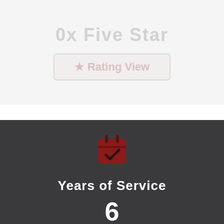0x Five Star
[Figure (illustration): Faded red rating box with text inside, partially visible]
[Figure (illustration): Dark gray card section with a red calendar/checkmark icon, showing 'Years of Service' label and a number]
Years of Service